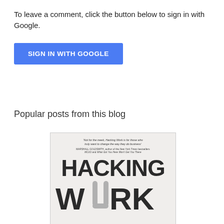To leave a comment, click the button below to sign in with Google.
[Figure (screenshot): Blue 'SIGN IN WITH GOOGLE' button]
Popular posts from this blog
[Figure (photo): Book cover of 'Hacking Work' with quote from Marshall Goldsmith: 'Not for the meek, Hacking Work is for those who truly want to change the way they do business']